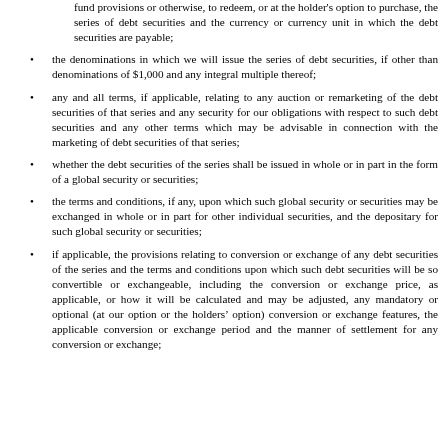fund provisions or otherwise, to redeem, or at the holder's option to purchase, the series of debt securities and the currency or currency unit in which the debt securities are payable;
the denominations in which we will issue the series of debt securities, if other than denominations of $1,000 and any integral multiple thereof;
any and all terms, if applicable, relating to any auction or remarketing of the debt securities of that series and any security for our obligations with respect to such debt securities and any other terms which may be advisable in connection with the marketing of debt securities of that series;
whether the debt securities of the series shall be issued in whole or in part in the form of a global security or securities;
the terms and conditions, if any, upon which such global security or securities may be exchanged in whole or in part for other individual securities, and the depositary for such global security or securities;
if applicable, the provisions relating to conversion or exchange of any debt securities of the series and the terms and conditions upon which such debt securities will be so convertible or exchangeable, including the conversion or exchange price, as applicable, or how it will be calculated and may be adjusted, any mandatory or optional (at our option or the holders' option) conversion or exchange features, the applicable conversion or exchange period and the manner of settlement for any conversion or exchange;